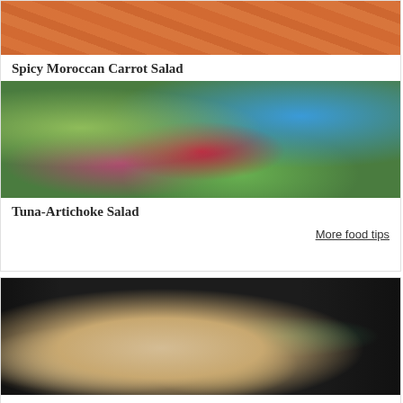[Figure (photo): Photo of fresh orange carrots on a light wooden surface]
Spicy Moroccan Carrot Salad
[Figure (photo): Photo of a tuna-artichoke salad with mixed greens, red onion, potato slices, and celery on a blue plate with flatbread]
Tuna-Artichoke Salad
More food tips
[Figure (photo): Photo of gnocchi with mushrooms and green onions in a black pan on a bamboo mat background]